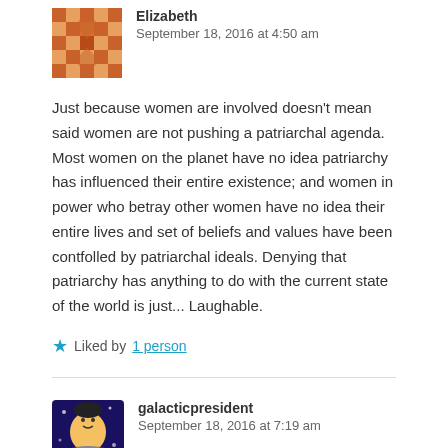[Figure (illustration): Mosaic/geometric avatar for user Elizabeth]
Elizabeth
September 18, 2016 at 4:50 am
Just because women are involved doesn't mean said women are not pushing a patriarchal agenda. Most women on the planet have no idea patriarchy has influenced their entire existence; and women in power who betray other women have no idea their entire lives and set of beliefs and values have been contfolled by patriarchal ideals. Denying that patriarchy has anything to do with the current state of the world is just... Laughable.
★ Liked by 1 person
[Figure (photo): Avatar photo for user galacticpresident — colorful illustrated character]
galacticpresident
September 18, 2016 at 7:19 am
I wasn't denying it, quite to the contrary, and I totally agree with your other